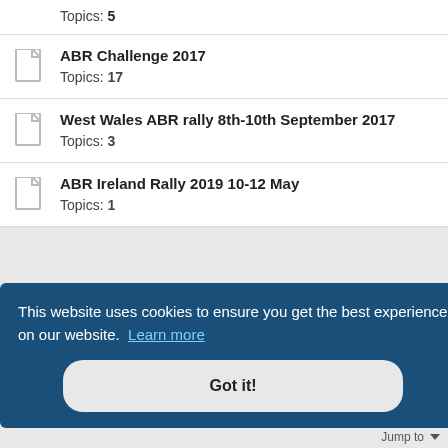Topics: 5
ABR Challenge 2017
Topics: 17
West Wales ABR rally 8th-10th September 2017
Topics: 3
ABR Ireland Rally 2019 10-12 May
Topics: 1
This website uses cookies to ensure you get the best experience on our website. Learn more
Got it!
Jump to